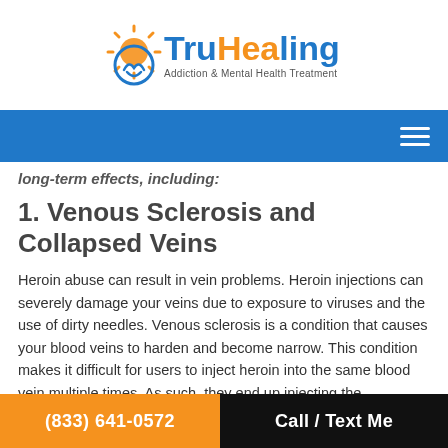TruHealing — Addiction & Mental Health Treatment
long-term effects, including:
1. Venous Sclerosis and Collapsed Veins
Heroin abuse can result in vein problems. Heroin injections can severely damage your veins due to exposure to viruses and the use of dirty needles. Venous sclerosis is a condition that causes your blood veins to harden and become narrow. This condition makes it difficult for users to inject heroin into the same blood vein multiple times. As such, they end up injecting the substance into their muscles, which damages their bodies even more. Bacterial infections are another
(833) 641-0572 | Call / Text Me